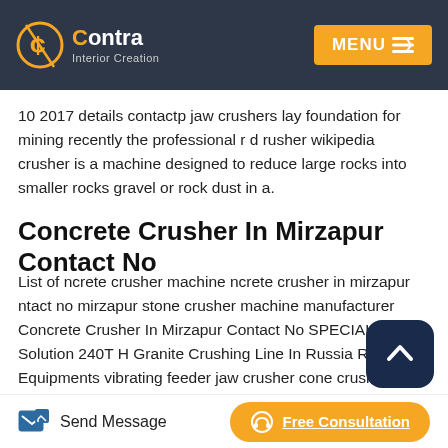Contra Interior Creation — MENU
10 2017 details contactp jaw crushers lay foundation for mining recently the professional r d rusher wikipedia crusher is a machine designed to reduce large rocks into smaller rocks gravel or rock dust in a.
Concrete Crusher In Mirzapur Contact No
List of ncrete crusher machine ncrete crusher in mirzapur ntact no mirzapur stone crusher machine manufacturer Concrete Crusher In Mirzapur Contact No SPECIAL Hot Solution 240T H Granite Crushing Line In Russia Related Equipments vibrating feeder jaw crusher cone crusher sand maker and vibrating screen 100T H Limestone Crushing Line In Switzerland Main Equipments PE series jaw crusher
Send Message   Free Consultation